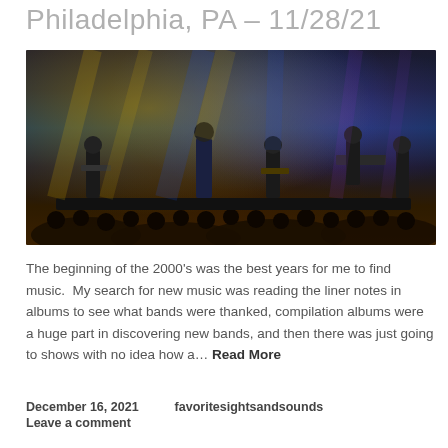Philadelphia, PA – 11/28/21
[Figure (photo): Concert photo showing a band performing on a darkened stage with dramatic yellow and blue stage lighting, crowd visible in the foreground, multiple musicians including a singer center-stage]
The beginning of the 2000's was the best years for me to find music.  My search for new music was reading the liner notes in albums to see what bands were thanked, compilation albums were a huge part in discovering new bands, and then there was just going to shows with no idea how a… Read More
December 16, 2021    favoritesightsandsounds
Leave a comment